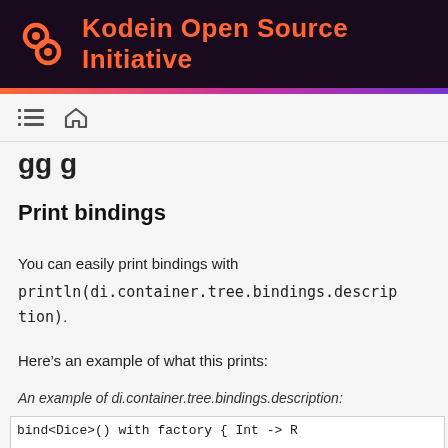Kodein Open Source Initiative
Print bindings
You can easily print bindings with println(di.container.tree.bindings.description).
Here's an example of what this prints:
An example of di.container.tree.bindings.description:
bind<Dice>() with factory { Int -> R...
bind<DataSource>() with singleton { ...
bind<Random>() with provider { Secur...
bind<String>(tag = "answer") with in...